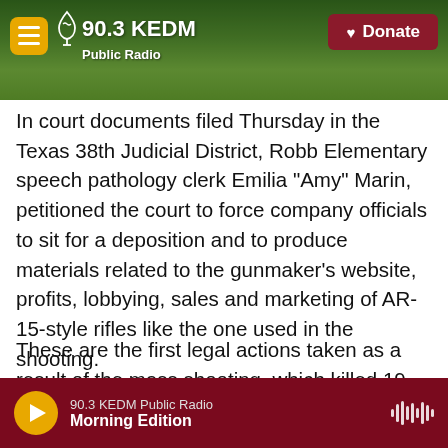90.3 KEDM Public Radio — Donate
In court documents filed Thursday in the Texas 38th Judicial District, Robb Elementary speech pathology clerk Emilia "Amy" Marin, petitioned the court to force company officials to sit for a deposition and to produce materials related to the gunmaker's website, profits, lobbying, sales and marketing of AR-15-style rifles like the one used in the shooting.
These are the first legal actions taken as a result of the mass shooting, which killed 19 children and two adults. While not full-blown lawsuits, the filings seek to determine if the gun manufacturer can be
90.3 KEDM Public Radio — Morning Edition